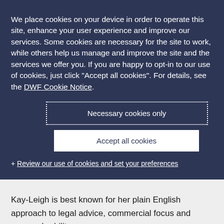We place cookies on your device in order to operate this site, enhance your user experience and improve our services. Some cookies are necessary for the site to work, while others help us manage and improve the site and the services we offer you. If you are happy to opt-in to our use of cookies, just click "Accept all cookies". For details, see the DWF Cookie Notice.
Necessary cookies only
Accept all cookies
+ Review our use of cookies and set your preferences
Kay-Leigh is best known for her plain English approach to legal advice, commercial focus and approach-ability.